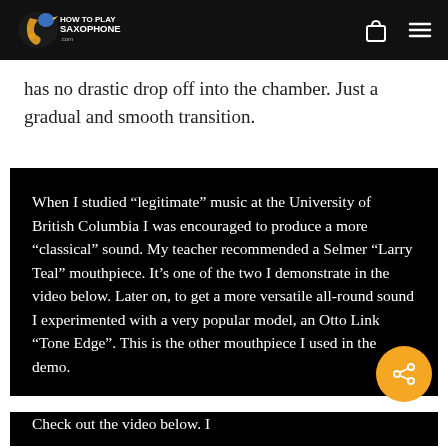How To Play Saxophone [logo and navigation]
has no drastic drop off into the chamber. Just a gradual and smooth transition.
When I studied “legitimate” music at the University of British Columbia I was encouraged to produce a more “classical” sound. My teacher recommended a Selmer “Larry Teal” mouthpiece. It’s one of the two I demonstrate in the video below. Later on, to get a more versatile all-round sound I experimented with a very popular model, an Otto Link “Tone Edge”. This is the other mouthpiece I used in the demo.
Check out the video below. I